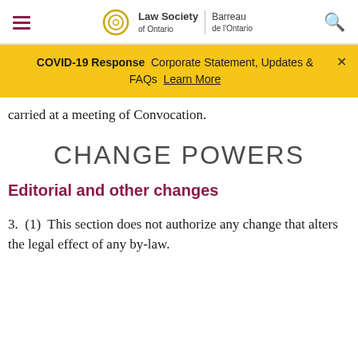Law Society of Ontario | Barreau de l'Ontario
COVID-19 Response  Corporate Statement, Updates & FAQs  Learn More
carried at a meeting of Convocation.
CHANGE POWERS
Editorial and other changes
3.  (1)  This section does not authorize any change that alters the legal effect of any by-law.